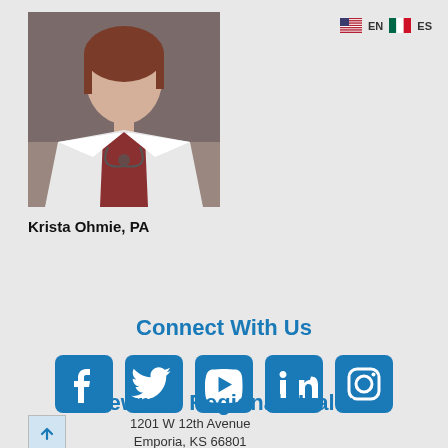[Figure (photo): Professional headshot of Krista Ohmie, PA, wearing a white medical coat over a patterned top, with a stethoscope and ID badge]
Krista Ohmie, PA
Connect With Us
[Figure (infographic): Row of five blue social media icons: Facebook, Twitter, YouTube, LinkedIn, Instagram]
Newman Regional Health
1201 W 12th Avenue
Emporia, KS 66801